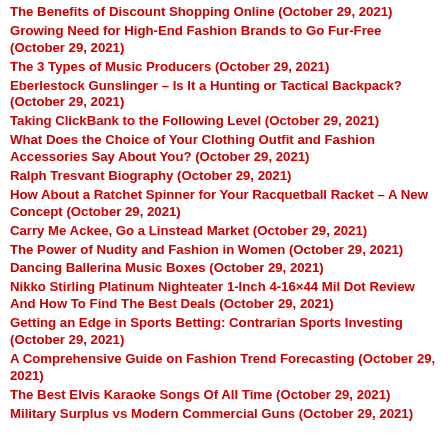The Benefits of Discount Shopping Online (October 29, 2021)
Growing Need for High-End Fashion Brands to Go Fur-Free (October 29, 2021)
The 3 Types of Music Producers (October 29, 2021)
Eberlestock Gunslinger – Is It a Hunting or Tactical Backpack? (October 29, 2021)
Taking ClickBank to the Following Level (October 29, 2021)
What Does the Choice of Your Clothing Outfit and Fashion Accessories Say About You? (October 29, 2021)
Ralph Tresvant Biography (October 29, 2021)
How About a Ratchet Spinner for Your Racquetball Racket – A New Concept (October 29, 2021)
Carry Me Ackee, Go a Linstead Market (October 29, 2021)
The Power of Nudity and Fashion in Women (October 29, 2021)
Dancing Ballerina Music Boxes (October 29, 2021)
Nikko Stirling Platinum Nighteater 1-Inch 4-16×44 Mil Dot Review And How To Find The Best Deals (October 29, 2021)
Getting an Edge in Sports Betting: Contrarian Sports Investing (October 29, 2021)
A Comprehensive Guide on Fashion Trend Forecasting (October 29, 2021)
The Best Elvis Karaoke Songs Of All Time (October 29, 2021)
Military Surplus vs Modern Commercial Guns (October 29, 2021)